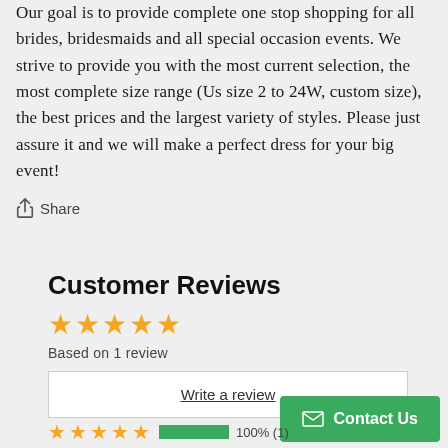Our goal is to provide complete one stop shopping for all brides, bridesmaids and all special occasion events. We strive to provide you with the most current selection, the most complete size range (Us size 2 to 24W, custom size), the best prices and the largest variety of styles. Please just assure it and we will make a perfect dress for your big event!
Share
Customer Reviews
Based on 1 review
Write a review
100% (1)